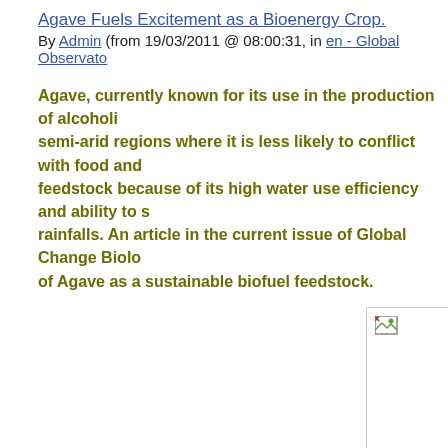Agave Fuels Excitement as a Bioenergy Crop.
By Admin (from 19/03/2011 @ 08:00:31, in en - Global Observatory
Agave, currently known for its use in the production of alcoholic semi-arid regions where it is less likely to conflict with food and feedstock because of its high water use efficiency and ability to s rainfalls. An article in the current issue of Global Change Biolo of Agave as a sustainable biofuel feedstock.
[Figure (photo): A broken or missing image placeholder, shown as a rectangle with a small broken-image icon in the top-left corner.]